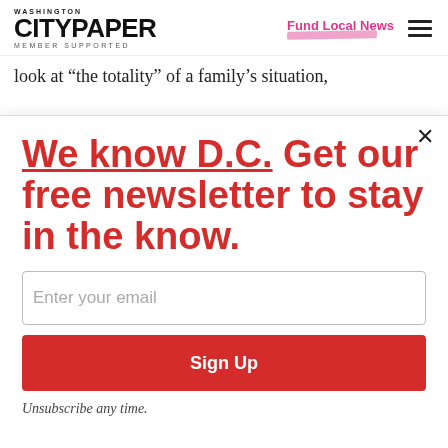WASHINGTON CITYPAPER MEMBER SUPPORTED | Fund Local News
look at “the totality” of a family’s situation,
We know D.C. Get our free newsletter to stay in the know.
Enter your email
Sign Up
Unsubscribe any time.